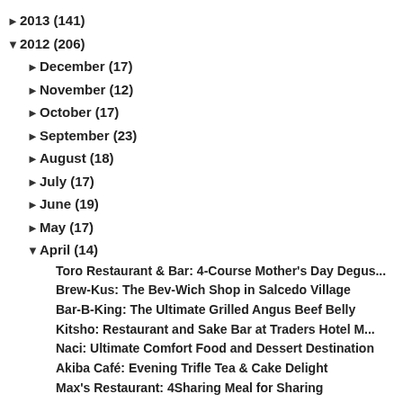► 2013 (141)
▼ 2012 (206)
► December (17)
► November (12)
► October (17)
► September (23)
► August (18)
► July (17)
► June (19)
► May (17)
▼ April (14)
Toro Restaurant & Bar: 4-Course Mother's Day Degus...
Brew-Kus: The Bev-Wich Shop in Salcedo Village
Bar-B-King: The Ultimate Grilled Angus Beef Belly
Kitsho: Restaurant and Sake Bar at Traders Hotel M...
Naci: Ultimate Comfort Food and Dessert Destination
Akiba Café: Evening Trifle Tea & Cake Delight
Max's Restaurant: 4Sharing Meal for Sharing
Sprout of Breakfast Nourish...